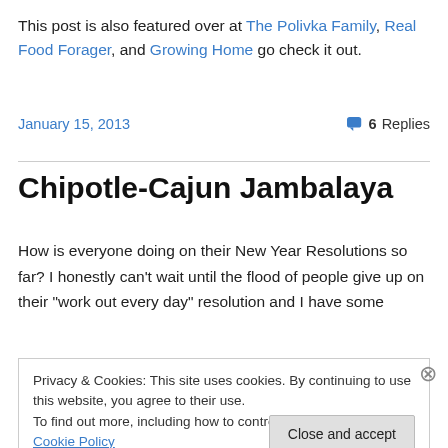This post is also featured over at The Polivka Family, Real Food Forager, and Growing Home go check it out.
January 15, 2013   6 Replies
Chipotle-Cajun Jambalaya
How is everyone doing on their New Year Resolutions so far? I honestly can't wait until the flood of people give up on their “work out every day” resolution and I have some
Privacy & Cookies: This site uses cookies. By continuing to use this website, you agree to their use.
To find out more, including how to control cookies, see here: Cookie Policy